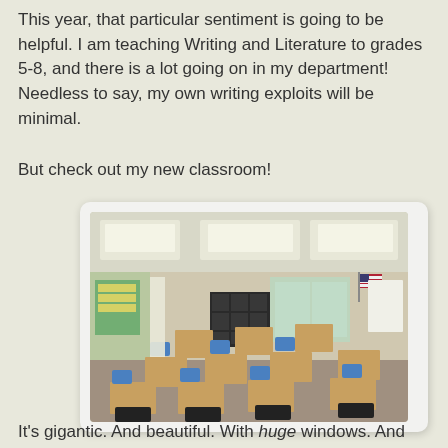This year, that particular sentiment is going to be helpful. I am teaching Writing and Literature to grades 5-8, and there is a lot going on in my department! Needless to say, my own writing exploits will be minimal.
But check out my new classroom!
[Figure (photo): A spacious classroom with rows of wooden student desks and blue chairs, bookshelves and a bulletin board along the walls, large windows at the back, fluorescent ceiling lights, and an American flag in the corner.]
It's gigantic. And beautiful. With huge windows. And when I